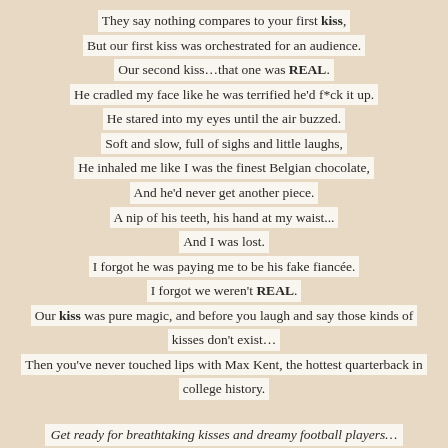They say nothing compares to your first kiss,
But our first kiss was orchestrated for an audience.
Our second kiss…that one was REAL.
He cradled my face like he was terrified he'd f*ck it up.
He stared into my eyes until the air buzzed.
Soft and slow, full of sighs and little laughs,
He inhaled me like I was the finest Belgian chocolate,
And he'd never get another piece.
A nip of his teeth, his hand at my waist...
And I was lost.
I forgot he was paying me to be his fake fiancée.
I forgot we weren't REAL.
Our kiss was pure magic, and before you laugh and say those kinds of kisses don't exist…
Then you've never touched lips with Max Kent, the hottest quarterback in college history.
Get ready for breathtaking kisses and dreamy football players…